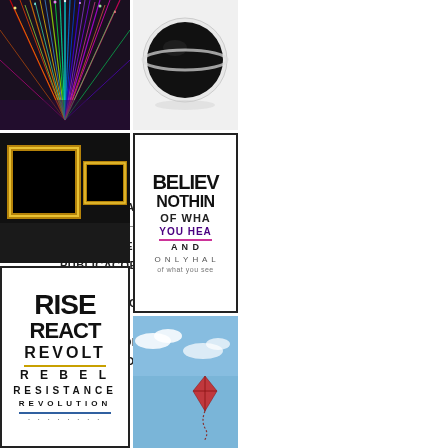A GALERIA
ARTISTAS ←
EXPOSIÇÕES
PUBLICAÇÕES
FEIRAS
VIEWING ROOM
CONTATO
POLÍTICA DE PRIVACIDADE
[Figure (photo): Colorful radiating lines/spikes artwork on dark background]
[Figure (photo): Black beads/seeds in a white bowl on white background]
[Figure (photo): Two illuminated square frame artworks on gallery wall, dark background]
[Figure (photo): Text art poster: RISE REACT REVOLT REBEL RESISTANCE REVOLUTION in decreasing size]
[Figure (photo): Text art poster: BELIEVE NOTHING OF WHAT YOU HEAR AND ONLY HALF OF WHAT YOU SEE]
[Figure (photo): Kite flying in blue sky with clouds]